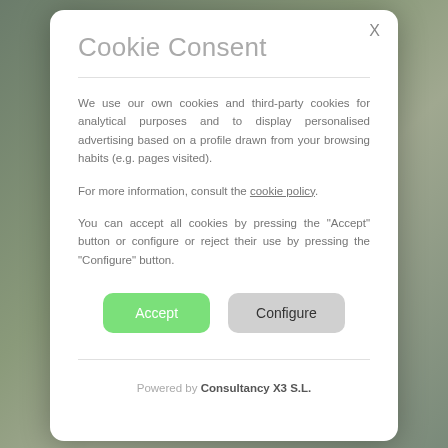Cookie Consent
We use our own cookies and third-party cookies for analytical purposes and to display personalised advertising based on a profile drawn from your browsing habits (e.g. pages visited).
For more information, consult the cookie policy.
You can accept all cookies by pressing the "Accept" button or configure or reject their use by pressing the "Configure" button.
Accept | Configure
Powered by Consultancy X3 S.L.